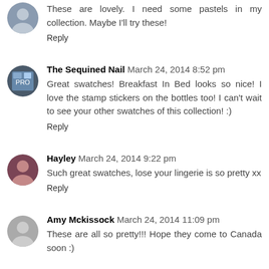These are lovely. I need some pastels in my collection. Maybe I'll try these!
Reply
The Sequined Nail  March 24, 2014 8:52 pm
Great swatches! Breakfast In Bed looks so nice! I love the stamp stickers on the bottles too! I can't wait to see your other swatches of this collection! :)
Reply
Hayley  March 24, 2014 9:22 pm
Such great swatches, lose your lingerie is so pretty xx
Reply
Amy Mckissock  March 24, 2014 11:09 pm
These are all so pretty!!! Hope they come to Canada soon :)